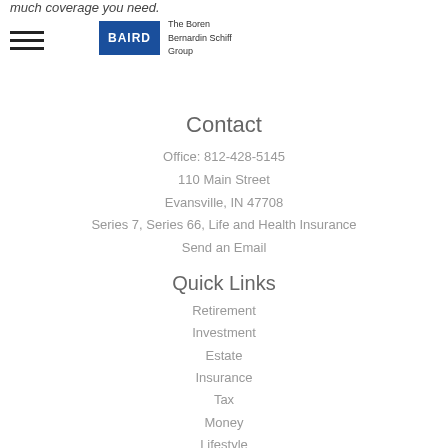much coverage you need.
[Figure (logo): Baird logo with 'The Boren Bernardin Schiff Group' text beside it]
Contact
Office: 812-428-5145
110 Main Street
Evansville, IN 47708
Series 7, Series 66, Life and Health Insurance
Send an Email
Quick Links
Retirement
Investment
Estate
Insurance
Tax
Money
Lifestyle
All Articles
All Videos